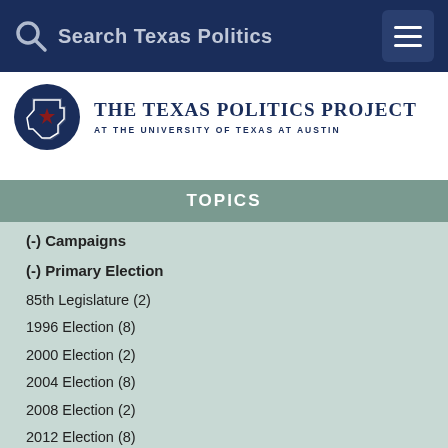Search Texas Politics
[Figure (logo): The Texas Politics Project at the University of Texas at Austin logo with Texas state outline and star]
TOPICS
(-) Campaigns
(-) Primary Election
85th Legislature (2)
1996 Election (8)
2000 Election (2)
2004 Election (8)
2008 Election (2)
2012 Election (8)
2014 Election (2)
2016 Election (11)